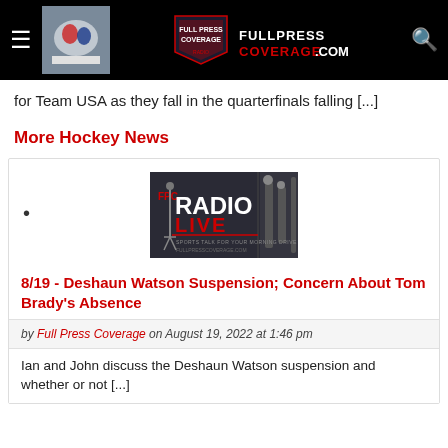FULLPRESSCOVERAGE.COM
for Team USA as they fall in the quarterfinals falling [...]
More Hockey News
[Figure (illustration): FPC Radio Live logo - dark background with microphone graphic, text reads FPC RADIO LIVE, SPORTS TALK FOR YOUR MORNING DRIVE, FULLPRESSCOVERAGE.COM]
8/19 - Deshaun Watson Suspension; Concern About Tom Brady's Absence
by Full Press Coverage on August 19, 2022 at 1:46 pm
Ian and John discuss the Deshaun Watson suspension and whether or not [...]